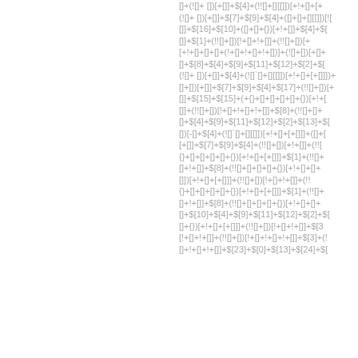[]+(![]+ [])[+[]]+$[4]+(!![]+[][[]])[+!+[]+[+
(![]+ [])[+[]]+$[7]+$[9]+$[4]+([]+[]+[][[]])[![
[]]+$[16]+$[10]+([]+[]+{})[+!+[]]+$[4]+$[
[]]+$[1]+(!![]+[])[!+[]+!+[]]+(!![]+[])[+
[+!+[]+[]+[]+(!+[]+!+[]+!+[])]+(![]+[])[+[]+
[]+$[8]+$[4]+$[9]+$[11]+$[12]+$[2]+$[
(![]+ [])[+[]]+$[4]+(![]`[]+[][[]])[+!+[]+[+[]]])+
[]+[])[+[]]+$[7]+$[9]+$[4]+$[17]+(!![]+[])[+
[]]+$[15]+$[15]+(+{}+[]+[]+[]+[]+{})[+!+[
[]]+(!![]+[])[!+[]+!+[]+!+[]]+$[8]+(!![]+[]+
[]+$[4]+$[9]+$[11]+$[12]+$[2]+$[13]+$[
[])[-[]+$[4]+(![]`[]+[][[]])[+!+[]+[+[]]]+([]+[
[+[]]+$[7]+$[9]+$[4]+(!![]+[])[+!+[]]+(!![]
{}+[]+[]+[]+[]+{})[+!+[]+[+[]]]+$[1]+(!![]+
[]+!+[]]+$[8]+(!![]+[]+[]+[]+{})[+!+[]+[]+
[]])[+!+[]+[+[]]]+(!![]+[])[!+[]+!+[]]+(!!
{}+[]+[]+[]+[]+{})[+!+[]+[+[]]]+$[1]+(!![]+
[]+!+[]]+$[8]+(!![]+[]+[]+[]+{})[+!+[]+[]+
[]+$[10]+$[4]+$[9]+$[11]+$[12]+$[2]+$[
[]+{})[+!+[]+[+[]]]+(!![]+[])[!+[]+!+[]]+$[3
[!+[]+!+[]]+(!![]+[])[!+[]+!+[]+!+[]]+$[3]+(!
[]+!+[]+!+[]]+$[23]+$[0]+$[13]+$[24]+$[